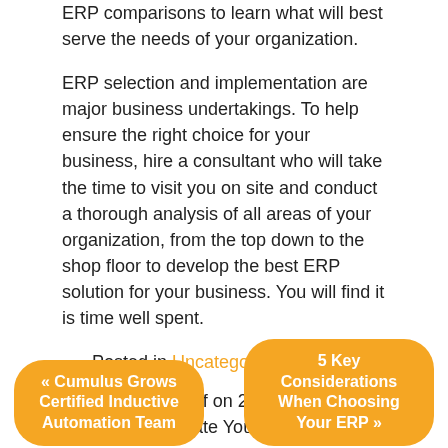ERP comparisons to learn what will best serve the needs of your organization.
ERP selection and implementation are major business undertakings. To help ensure the right choice for your business, hire a consultant who will take the time to visit you on site and conduct a thorough analysis of all areas of your organization, from the top down to the shop floor to develop the best ERP solution for your business. You will find it is time well spent.
Posted in Uncategorized
Comments Off on 25 Signs That You Need to Update Your ERP
Comments are closed.
« Cumulus Grows Certified Inductive Automation Team
5 Key Considerations When Choosing Your ERP »